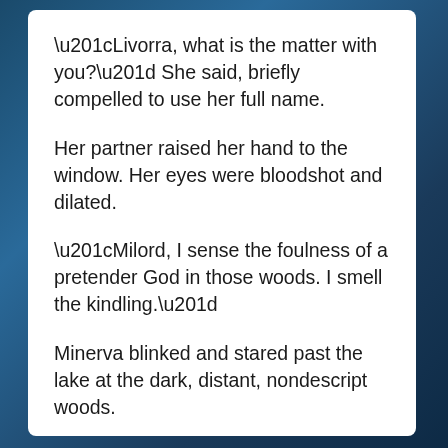“Livorra, what is the matter with you?” She said, briefly compelled to use her full name.
Her partner raised her hand to the window. Her eyes were bloodshot and dilated.
“Milord, I sense the foulness of a pretender God in those woods. I smell the kindling.”
Minerva blinked and stared past the lake at the dark, distant, nondescript woods.